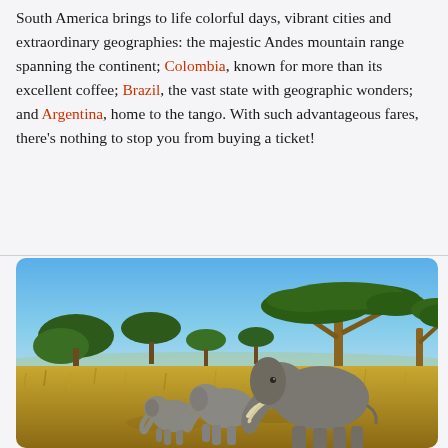South America brings to life colorful days, vibrant cities and extraordinary geographies: the majestic Andes mountain range spanning the continent; Colombia, known for more than its excellent coffee; Brazil, the vast state with geographic wonders; and Argentina, home to the tango. With such advantageous fares, there's nothing to stop you from buying a ticket!
[Figure (photo): A wildlife photo showing three elephants (one adult large elephant, one mid-size, one small/baby) walking through golden savanna grassland with acacia trees in the background and a blue sky.]